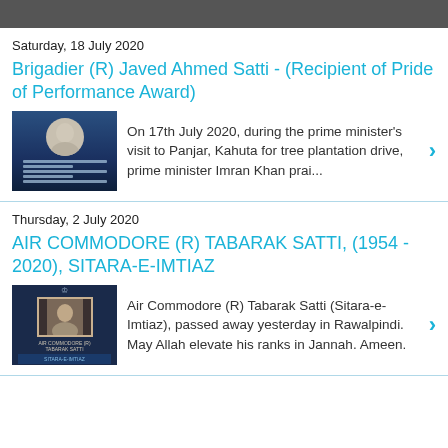Saturday, 18 July 2020
Brigadier (R) Javed Ahmed Satti - (Recipient of Pride of Performance Award)
[Figure (photo): Thumbnail image of Brigadier (R) Javed Ahmed Satti article]
On 17th July 2020, during the prime minister's visit to Panjar, Kahuta for tree plantation drive, prime minister Imran Khan prai...
Thursday, 2 July 2020
AIR COMMODORE (R) TABARAK SATTI, (1954 - 2020), SITARA-E-IMTIAZ
[Figure (photo): Thumbnail image of Air Commodore (R) Tabarak Satti article]
Air Commodore (R) Tabarak Satti (Sitara-e-Imtiaz), passed away yesterday in Rawalpindi. May Allah elevate his ranks in Jannah. Ameen.